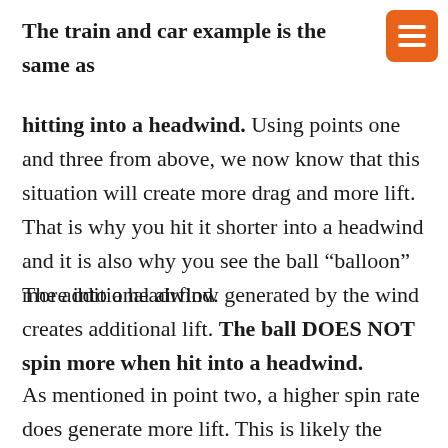The train and car example is the same as hitting into a headwind. Using points one and three from above, we now know that this situation will create more drag and more lift. That is why you hit it shorter into a headwind and it is also why you see the ball “balloon” more into a headwind.
The additional airflow generated by the wind creates additional lift. The ball DOES NOT spin more when hit into a headwind.
As mentioned in point two, a higher spin rate does generate more lift. This is likely the reason